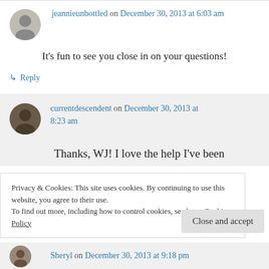jeannieunbottled on December 30, 2013 at 6:03 am
It's fun to see you close in on your questions!
↳ Reply
currentdescendent on December 30, 2013 at 8:23 am
Thanks, WJ! I love the help I've been
Privacy & Cookies: This site uses cookies. By continuing to use this website, you agree to their use.
To find out more, including how to control cookies, see here: Cookie Policy
Close and accept
Sheryl on December 30, 2013 at 9:18 pm